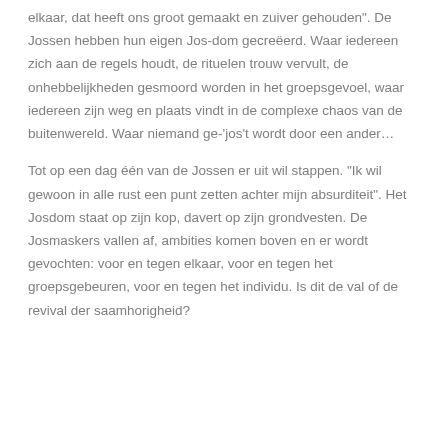elkaar, dat heeft ons groot gemaakt en zuiver gehouden". De Jossen hebben hun eigen Jos-dom gecreëerd. Waar iedereen zich aan de regels houdt, de rituelen trouw vervult, de onhebbelijkheden gesmoord worden in het groepsgevoel, waar iedereen zijn weg en plaats vindt in de complexe chaos van de buitenwereld. Waar niemand ge-'jos't wordt door een ander…
Tot op een dag één van de Jossen er uit wil stappen. "Ik wil gewoon in alle rust een punt zetten achter mijn absurditeit". Het Josdom staat op zijn kop, davert op zijn grondvesten. De Josmaskers vallen af, ambities komen boven en er wordt gevochten: voor en tegen elkaar, voor en tegen het groepsgebeuren, voor en tegen het individu. Is dit de val of de revival der saamhorigheid?